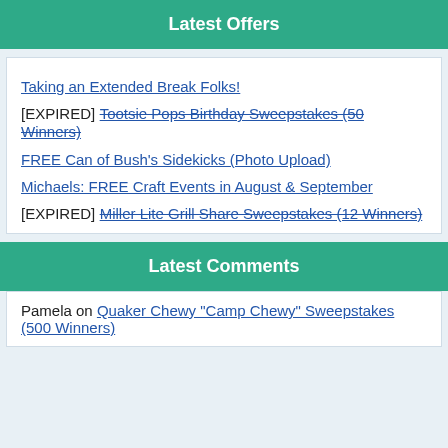Latest Offers
Taking an Extended Break Folks!
[EXPIRED] Tootsie Pops Birthday Sweepstakes (50 Winners)
FREE Can of Bush's Sidekicks (Photo Upload)
Michaels: FREE Craft Events in August & September
[EXPIRED] Miller Lite Grill Share Sweepstakes (12 Winners)
Latest Comments
Pamela on Quaker Chewy "Camp Chewy" Sweepstakes (500 Winners)